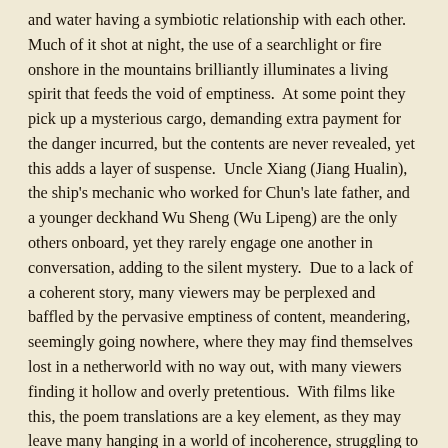and water having a symbiotic relationship with each other.  Much of it shot at night, the use of a searchlight or fire onshore in the mountains brilliantly illuminates a living spirit that feeds the void of emptiness.  At some point they pick up a mysterious cargo, demanding extra payment for the danger incurred, but the contents are never revealed, yet this adds a layer of suspense.  Uncle Xiang (Jiang Hualin), the ship's mechanic who worked for Chun's late father, and a younger deckhand Wu Sheng (Wu Lipeng) are the only others onboard, yet they rarely engage one another in conversation, adding to the silent mystery.  Due to a lack of a coherent story, many viewers may be perplexed and baffled by the pervasive emptiness of content, meandering, seemingly going nowhere, where they may find themselves lost in a netherworld with no way out, with many viewers finding it hollow and overly pretentious.  With films like this, the poem translations are a key element, as they may leave many hanging in a world of incoherence, struggling to find meaning or purpose, finding it incomprehensible.  But don't believe the critics, whose contempt for this film basically killed its chances of international distribution, screening at the Chicago International Film Festival in 2016 where it sold out, but was never shown anywhere else after that except New York and Los Angeles.  This is a film to watch